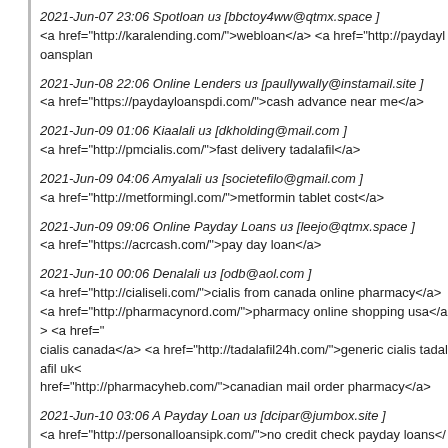2021-Jun-07 23:06 Spotloan из [bbctoy4ww@qtmx.space ]
<a href="http://karalending.com/">webloan</a> <a href="http://paydayloansplan...
2021-Jun-08 22:06 Online Lenders из [paullywally@instamail.site ]
<a href="https://paydayloanspdi.com/">cash advance near me</a>
2021-Jun-09 01:06 Kiaalali из [dkholding@mail.com ]
<a href="http://pmcialis.com/">fast delivery tadalafil</a>
2021-Jun-09 04:06 Amyalali из [societefilo@gmail.com ]
<a href="http://metformingl.com/">metformin tablet cost</a>
2021-Jun-09 09:06 Online Payday Loans из [leejo@qtmx.space ]
<a href="https://acrcash.com/">pay day loan</a>
2021-Jun-10 00:06 Denalali из [odb@aol.com ]
<a href="http://cialiseli.com/">cialis from canada online pharmacy</a> <a href="http://pharmacynord.com/">pharmacy online shopping usa</a> <a href="...cialis canada</a> <a href="http://tadalafil24h.com/">generic cialis tadalafil uk</a> <a href="http://pharmacyheb.com/">canadian mail order pharmacy</a>
2021-Jun-10 03:06 A Payday Loan из [dcipar@jumbox.site ]
<a href="http://personalloansipk.com/">no credit check payday loans</a> <a hr...no credit</a>
2021-Jun-10 17:06 Personal Loans из [alviemsmith@qtmx.space ]
<a href="https://permlending.com/">loans in las vegas</a>